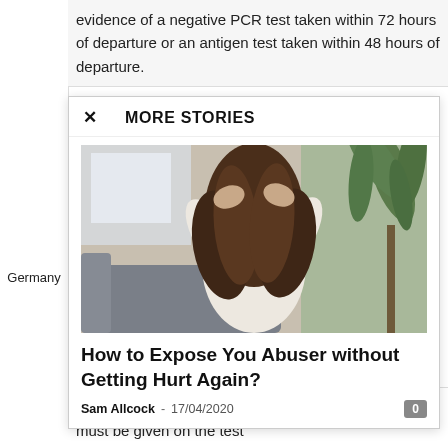evidence of a negative PCR test taken within 72 hours of departure or an antigen test taken within 48 hours of departure.
MORE STORIES
[Figure (photo): A woman with long brown hair covering her face with her hands, sitting in a room with a grey sofa and green plant in the background.]
How to Expose You Abuser without Getting Hurt Again?
Sam Allcock  -  17/04/2020
Germany
Details on the antigen or lateral flow test manufacturer must be given on the test